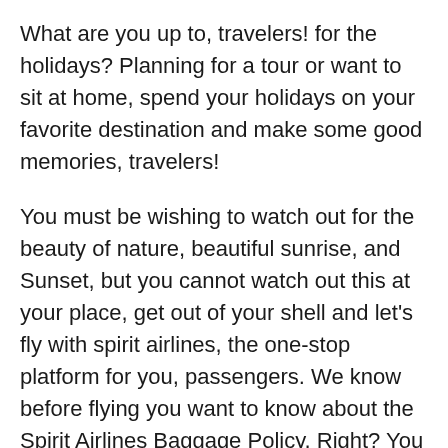What are you up to, travelers! for the holidays? Planning for a tour or want to sit at home, spend your holidays on your favorite destination and make some good memories, travelers!
You must be wishing to watch out for the beauty of nature, beautiful sunrise, and Sunset, but you cannot watch out this at your place, get out of your shell and let's fly with spirit airlines, the one-stop platform for you, passengers. We know before flying you want to know about the Spirit Airlines Baggage Policy, Right? You can carry your stuff accordingly, So as per the spirit website or updates, you will not be getting free spirit airlines checked baggage; you need to pay some